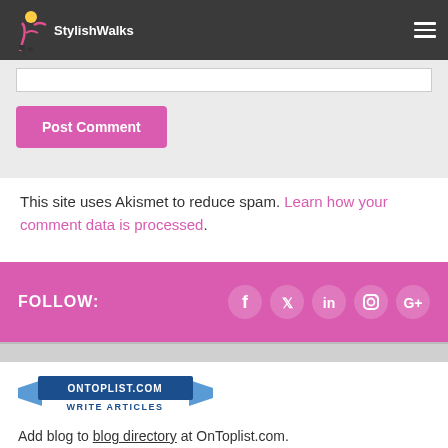StylishWalks
[Figure (screenshot): Comment form area with text input box and pink Post Comment button on grey background]
This site uses Akismet to reduce spam. Learn how your comment data is processed.
FOLLOW: [Facebook, Twitter, LinkedIn, Instagram, Google+]
[Figure (logo): OnTopList.com Write Articles banner/logo]
Add blog to blog directory at OnToplist.com.
My blog has recently been added to Blog Nation.
blogorama.com